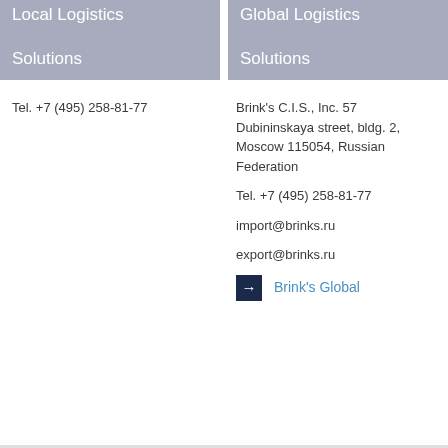Local Logistics
Solutions
Global Logistics
Solutions
Tel. +7 (495) 258-81-77
Brink's C.I.S., Inc. 57 Dubininskaya street, bldg. 2, Moscow 115054, Russian Federation

Tel. +7 (495) 258-81-77

import@brinks.ru

export@brinks.ru
→ Brink's Global